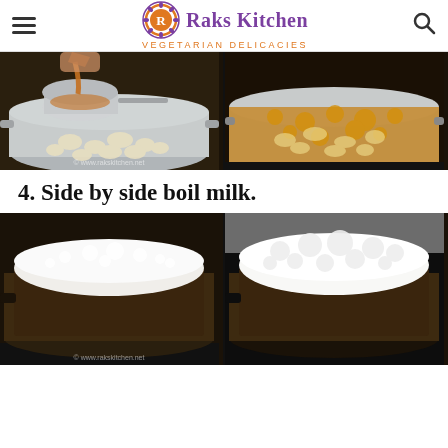Raks Kitchen - Vegetarian Delicacies
[Figure (photo): Two side-by-side cooking photos: left shows tamarind/sauce being strained through a metal strainer into a pot with pasta shells; right shows pasta shells cooking in caramel-colored sauce in a steel pot. Watermark: © www.rakskitchen.net]
4. Side by side boil milk.
[Figure (photo): Two side-by-side photos of milk boiling in a dark-colored wide pan/pot on a stovetop. Left shows milk just starting to froth; right shows milk at a rolling boil with foam. Watermark: © www.rakskitchen.net]